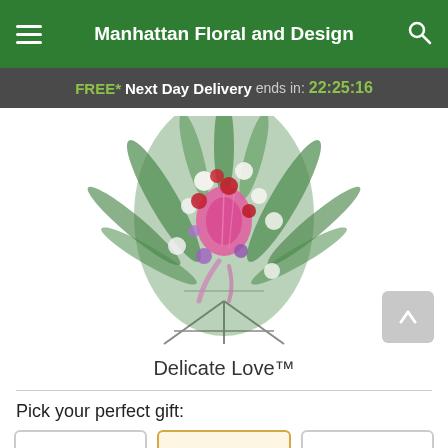Manhattan Floral and Design
FREE* Next Day Delivery ends in: 22:25:16
[Figure (photo): Floral arrangement called Delicate Love — an elegant spray of pink lilies, white carnations, red roses, and lush green palm leaves on a metal easel stand, with a pink ribbon.]
Delicate Love™
Pick your perfect gift: